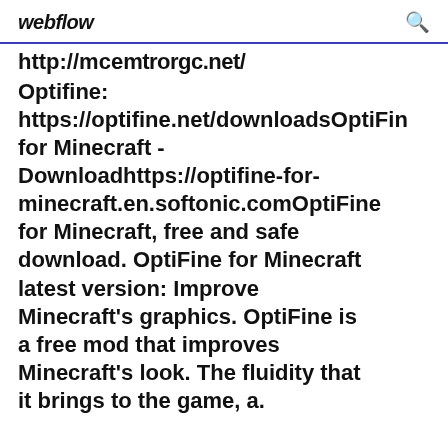webflow
http://mcemtrorge.net/ Optifine: https://optifine.net/downloadsOptiFine for Minecraft - Downloadhttps://optifine-for-minecraft.en.softonic.comOptiFine for Minecraft, free and safe download. OptiFine for Minecraft latest version: Improve Minecraft's graphics. OptiFine is a free mod that improves Minecraft's look. The fluidity that it brings to the game, a.